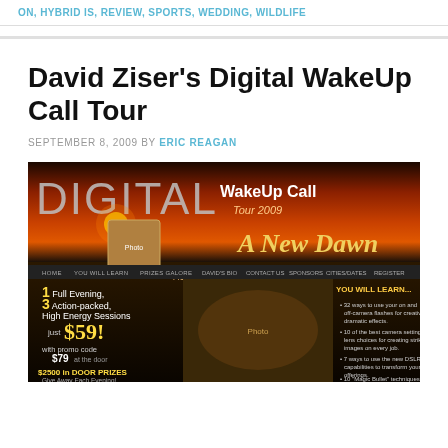ON, HYBRID IS, REVIEW, SPORTS, WEDDING, WILDLIFE
David Ziser's Digital WakeUp Call Tour
SEPTEMBER 8, 2009 BY ERIC REAGAN
[Figure (screenshot): Digital WakeUp Call Tour 2009 - A New Dawn website banner showing a sunset background, photo of David Ziser, navigation menu, pricing ($59 with promo code, $79 at door), $2500 in door prizes, and YOU WILL LEARN bullet points]